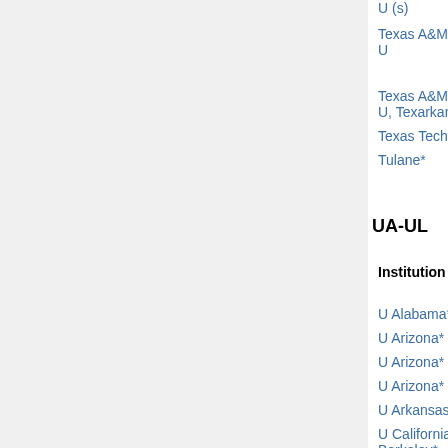| Institution | Areas | Apply by | Short lists and offers |
| --- | --- | --- | --- |
| U (s) |  |  |  |
| Texas A&M U | all math |  | Vera Mikyoung Hur (struck) |
| Texas A&M U, Texarkana | all math | Jan 30 |  |
| Texas Tech | all math | ? |  |
| Tulane* | topology | Dec 15 | Elisenda Grigsby (struck) |
UA-UL
| Institution | Areas | Apply by | Short lists and offers |
| --- | --- | --- | --- |
| U Alabama* | geom/topol | ? |  |
| U Arizona* | education | Nov 1 |  |
| U Arizona* | stat | Dec 1 |  |
| U Arizona* | all math | Dec 1 | frozen |
| U Arkansas* | analysis | Nov 1 | filled □ |
| U California, Berkeley* | all math (t) | Dec 1 | Mark Rudelson, Karen |